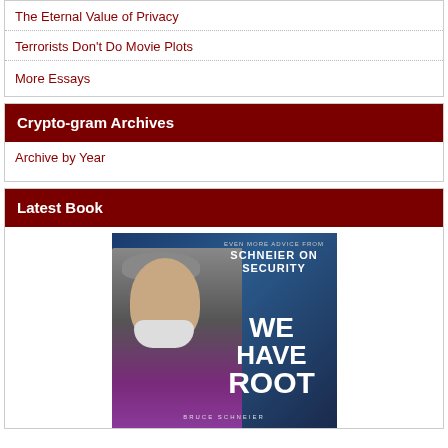The Eternal Value of Privacy
Terrorists Don't Do Movie Plots
More Essays
Crypto-gram Archives
Archive by Year
Latest Book
[Figure (photo): Book cover of 'We Have Root: Even More Advice from Schneier on Security' by Bruce Schneier, showing the author wearing a flat cap, with large white text on a dark blue background.]